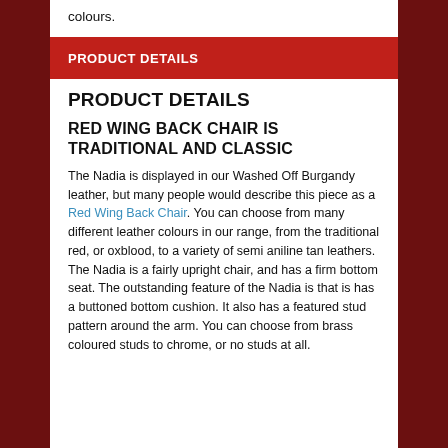colours.
PRODUCT DETAILS
PRODUCT DETAILS
RED WING BACK CHAIR IS TRADITIONAL AND CLASSIC
The Nadia is displayed in our Washed Off Burgandy leather, but many people would describe this piece as a Red Wing Back Chair. You can choose from many different leather colours in our range, from the traditional red, or oxblood, to a variety of semi aniline tan leathers. The Nadia is a fairly upright chair, and has a firm bottom seat. The outstanding feature of the Nadia is that is has a buttoned bottom cushion. It also has a featured stud pattern around the arm. You can choose from brass coloured studs to chrome, or no studs at all.